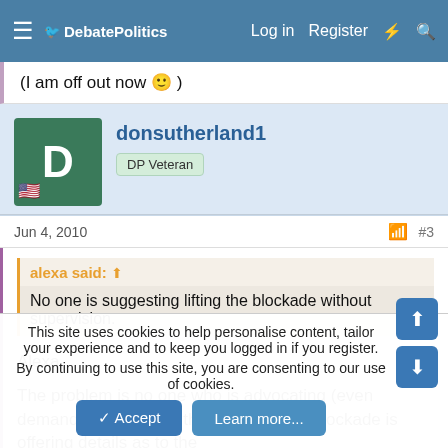DebatePolitics — Log in  Register
(I am off out now 🙂 )
donsutherland1 — DP Veteran
Jun 4, 2010  #3
alexa said: No one is suggesting lifting the blockade without supervision.
Alexa,

The problem is no one who is advocating (even demanding, in cases) that Israel lift the blockade is offering details as to the
This site uses cookies to help personalise content, tailor your experience and to keep you logged in if you register.
By continuing to use this site, you are consenting to our use of cookies.
Accept  Learn more...